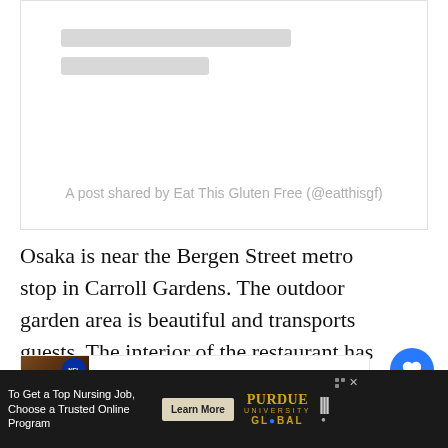[Figure (other): Embedded social media post placeholder with skeleton loading bars and credit line 'A post shared by Eat This Gluten Free (@eatthisgf)']
Osaka is near the Bergen Street metro stop in Carroll Gardens. The outdoor garden area is beautiful and transports guests. The interior of the restaurant has exposed brick walls and black linen topped tables. Osaka is open daily for lunch and dinner. The service is outstanding.
[Figure (other): WHAT'S NEXT arrow panel: thumbnail of restaurant interior with NFL badge overlay, text '18 Fast Food Restaurants...']
To Get a Top Nursing Job, Choose a Trusted Online Program | Learn More | Purdue University Global